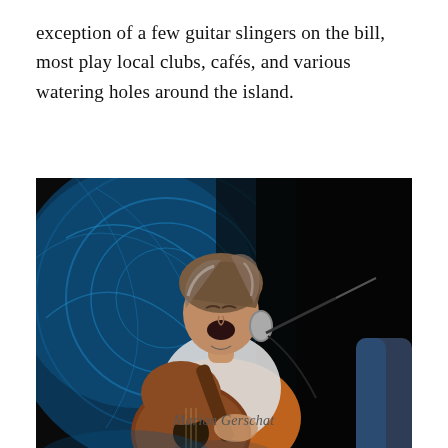exception of a few guitar slingers on the bill, most play local clubs, cafés, and various watering holes around the island.
[Figure (photo): A woman with short tousled hair sings passionately into a microphone while playing an acoustic guitar on stage. She wears a white sparkly top and an orange jacket. The background is a blue stage light display with circular patterns. Another musician is partially visible on the right.]
Marion Gerschat